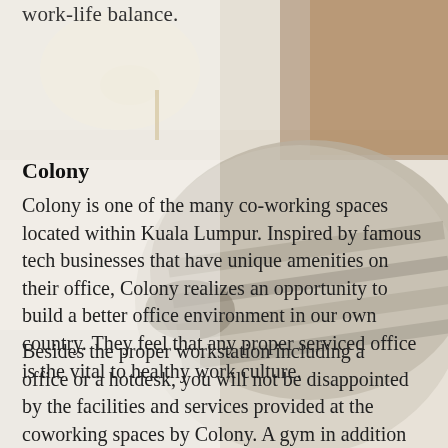[Figure (photo): Background photo of a hotel/coworking room with pillows, lamp, and wooden furniture, slightly blurred]
work-life balance.
Colony
Colony is one of the many co-working spaces located within Kuala Lumpur. Inspired by famous tech businesses that have unique amenities on their office, Colony realizes an opportunity to build a better office environment in our own country. They feel that any proper serviced office is the vital to healthy work culture.
Besides the proper workstation including a office or a hotdesk, you will not be disappointed by the facilities and services provided at the coworking spaces by Colony. A gym in addition to a pool area can be found if you should think that working out. Take a break from work by booking